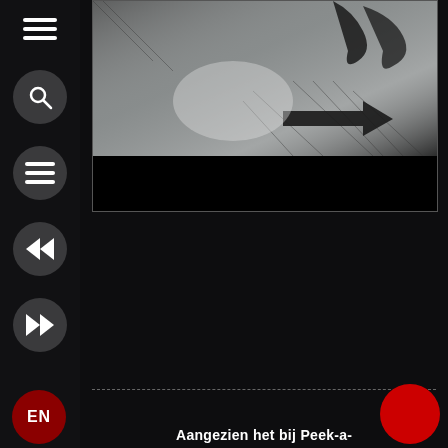[Figure (screenshot): Mobile app interface with dark sidebar containing hamburger menu, search button, list button, rewind and fast-forward buttons, and EN language button. Main area shows a dark sketch/illustration of a figure with an arrow, followed by a black panel. Dashed separator line and partial Dutch text at bottom.]
Aangezien het bij Peek-a-